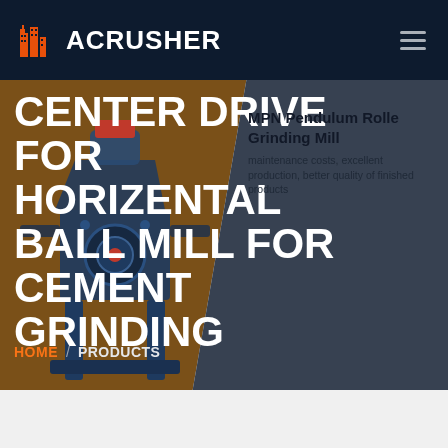ACRUSHER
CENTER DRIVE FOR HORIZENTAL BALL MILL FOR CEMENT GRINDING
MPN Pendulum Roller Grinding Mill
maintenance costs, excellent production, better quality of finished products
HOME / PRODUCTS